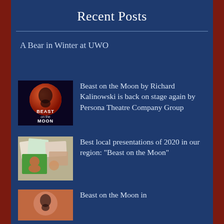Recent Posts
A Bear in Winter at UWO
Beast on the Moon by Richard Kalinowski is back on stage again by Persona Theatre Company Group
Best local presentations of 2020 in our region: "Beast on the Moon"
Beast on the Moon in